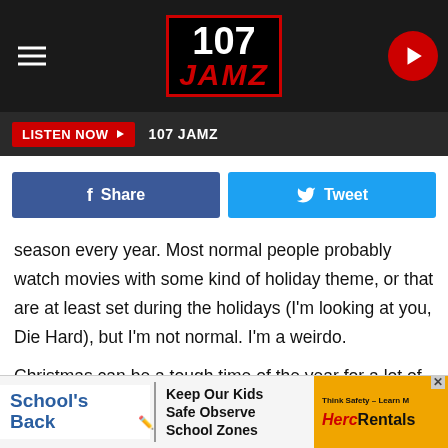[Figure (logo): 107 JAMZ radio station logo in header bar with hamburger menu and play button]
LISTEN NOW ▶   107 JAMZ
[Figure (other): Facebook Share button and Twitter Tweet button row]
season every year. Most normal people probably watch movies with some kind of holiday theme, or that are at least set during the holidays (I'm looking at you, Die Hard), but I'm not normal. I'm a weirdo.

Christmas can be a tough time of the year for a lot of reasons, and some Christmases are harder than others. So, whether you're a weirdo like me or just need a break from Christmas-everything for a little while, check out this list of
[Figure (other): Advertisement banner: School's Back - Keep Our Kids Safe Observe School Zones - HercRentals]